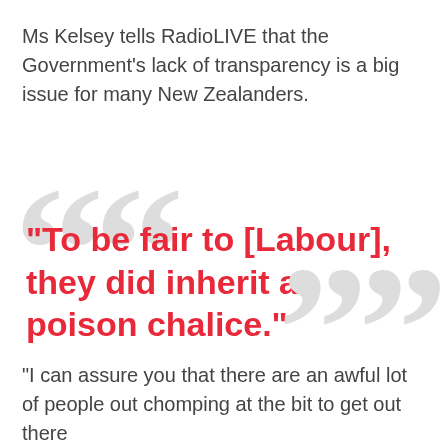Ms Kelsey tells RadioLIVE that the Government’s lack of transparency is a big issue for many New Zealanders.
“To be fair to [Labour], they did inherit a poison chalice.”
“I can assure you that there are an awful lot of people out chomping at the bit to get out there